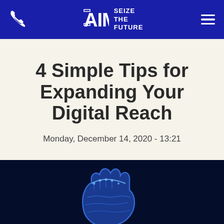AIM SEIZE THE FUTURE
4 Simple Tips for Expanding Your Digital Reach
Monday, December 14, 2020 - 13:21
[Figure (illustration): Glowing blue digital fist/hand against dark navy background, representing digital technology theme]